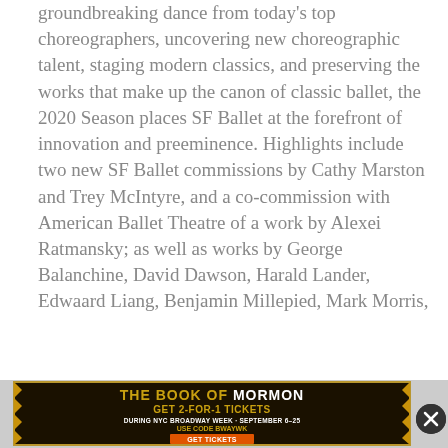groundbreaking dance from today's top choreographers, uncovering new choreographic talent, staging modern classics, and preserving the works that make up the canon of classic ballet, the 2020 Season places SF Ballet at the forefront of innovation and preeminence. Highlights include two new SF Ballet commissions by Cathy Marston and Trey McIntyre, and a co-commission with American Ballet Theatre of a work by Alexei Ratmansky; as well as works by George Balanchine, David Dawson, Harald Lander, Edwaard Liang, Benjamin Millepied, Mark Morris,
[Figure (infographic): Advertisement banner for 'The Book of Mormon' musical. Text reads: THE BOOK OF MORMON. GET 2-FOR-1 TICKETS. DURING NYC BROADWAY WEEK · SEPTEMBER 6–25. USE CODE BWAYWK. GET TICKETS. Features gold starburst decorative borders on a dark background.]